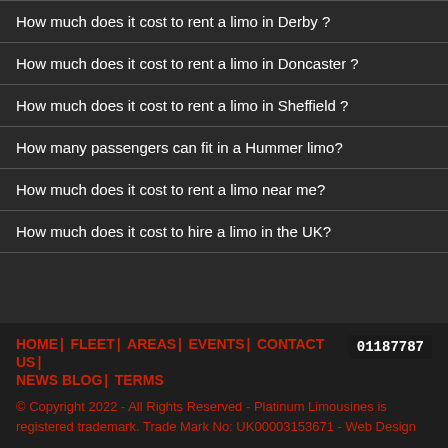How much does it cost to rent a limo in Derby ?
How much does it cost to rent a limo in Doncaster ?
How much does it cost to rent a limo in Sheffield ?
How many passengers can fit in a Hummer limo?
How much does it cost to rent a limo near me?
How much does it cost to hire a limo in the UK?
HOME | FLEET | AREAS | EVENTS | CONTACT US | NEWS BLOG | TERMS  01187787
© Copyright 2022 - All Rights Reserved - Platinum Limousines is registered trademark. Trade Mark No: UK00003153671 - Web Design